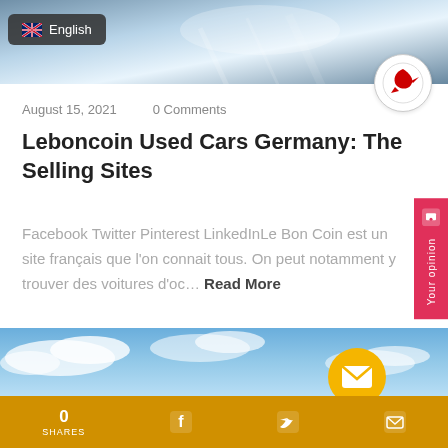[Figure (screenshot): Top banner image with blue/grey sky gradient and diagonal lines]
[Figure (logo): Red bird logo in white circle, top right]
August 15, 2021    0 Comments
Leboncoin Used Cars Germany: The Selling Sites
Facebook Twitter Pinterest LinkedInLe Bon Coin est un site français que l'on connait tous. On peut notamment y trouver des voitures d'oc… Read More
[Figure (screenshot): Sky with clouds blue background image, lower section of page]
[Figure (infographic): Yellow circle with white envelope/mail icon]
[Figure (infographic): Bottom golden share bar with 0 SHARES, Facebook, Twitter, and mail icons]